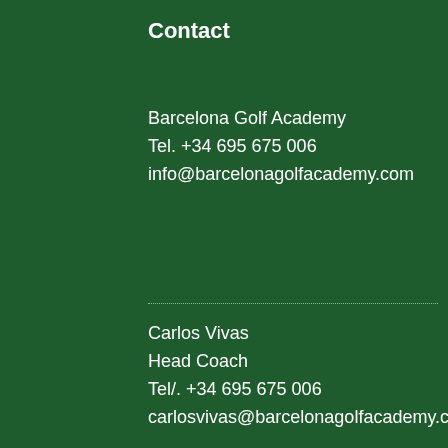Contact
Barcelona Golf Academy
Tel. +34 695 675 006
info@barcelonagolfacademy.com
Carlos Vivas
Head Coach
Tel/. +34 695 675 006
carlosvivas@barcelonagolfacademy.com
Almudena Ucillos
Office
We use cookies to ensure that we give you the best experience on our website. If you continue to use this site we will assume that you are happy with it.
ACCEPT
READ MORE